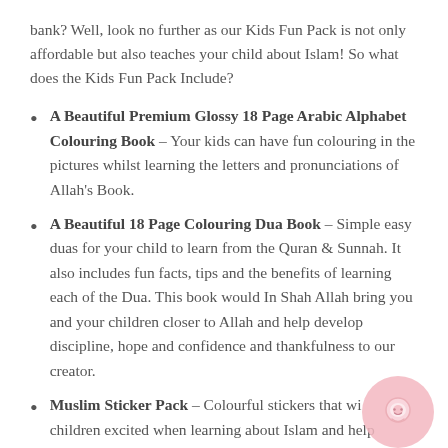bank? Well, look no further as our Kids Fun Pack is not only affordable but also teaches your child about Islam! So what does the Kids Fun Pack Include?
A Beautiful Premium Glossy 18 Page Arabic Alphabet Colouring Book – Your kids can have fun colouring in the pictures whilst learning the letters and pronunciations of Allah's Book.
A Beautiful 18 Page Colouring Dua Book – Simple easy duas for your child to learn from the Quran & Sunnah. It also includes fun facts, tips and the benefits of learning each of the Dua. This book would In Shah Allah bring you and your children closer to Allah and help develop discipline, hope and confidence and thankfulness to our creator.
Muslim Sticker Pack – Colourful stickers that will children excited when learning about Islam and help